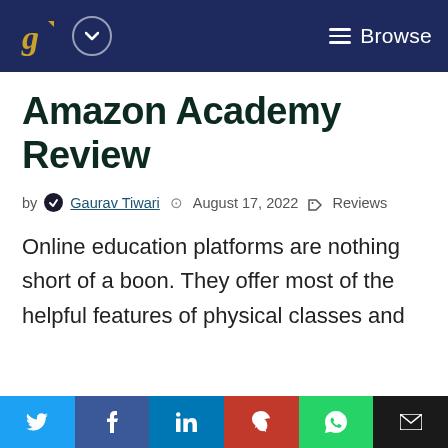Gaurav Tiwari — Browse
Amazon Academy Review
by Gaurav Tiwari  August 17, 2022  Reviews
Online education platforms are nothing short of a boon. They offer most of the helpful features of physical classes and
Twitter Facebook LinkedIn Pinterest WhatsApp Email